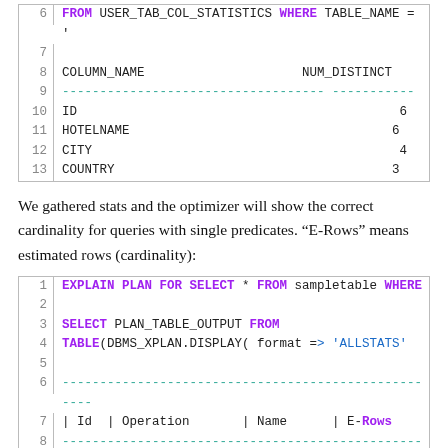| Line | Content |
| --- | --- |
| 6 | FROM USER_TAB_COL_STATISTICS WHERE TABLE_NAME = ' |
| 7 |  |
| 8 | COLUMN_NAME                    NUM_DISTINCT |
| 9 | -----------------------------------  ----------- |
| 10 | ID                                           6 |
| 11 | HOTELNAME                                    6 |
| 12 | CITY                                         4 |
| 13 | COUNTRY                                      3 |
We gathered stats and the optimizer will show the correct cardinality for queries with single predicates. "E-Rows" means estimated rows (cardinality):
| Line | Content |
| --- | --- |
| 1 | EXPLAIN PLAN FOR SELECT * FROM sampletable WHERE |
| 2 |  |
| 3 | SELECT PLAN_TABLE_OUTPUT FROM |
| 4 | TABLE(DBMS_XPLAN.DISPLAY( format => 'ALLSTATS' |
| 5 |  |
| 6 | --------------------------------------------------- |
| 7 | | Id | Operation         | Name       | E-Rows |
| 8 | --------------------------------------------------- |
| 9 | |   0 | SELECT STATEMENT |            |       2 |
| 10 | |*  1 |   TABLE ACCESS FULL| SAMPLETABLE |       2 |
| 11 | --------------------------------------------------- |
| 12 |  |
| 13 | EXPLAIN PLAN FOR SELECT * FROM sampletable WHERE |
| 14 |  |
| 15 | SELECT PLAN_TABLE_OUTPUT FROM |